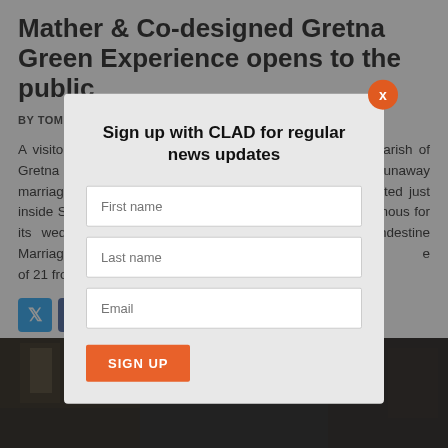Mather & Co-designed Gretna Green Experience opens to the public
BY TOM WALKER | 10 MAY 2022
A visitor attraction celebrating the history of the Scottish parish of Gretna Green – and its heritage as a destination for 'runaway marriages – has opened to the public. Gretna Green, located just inside Scotland on the border with England, first became famous for its weddings nearly 260 years ago, following the Clandestine Marriages Act 1753. The act prevented couples under the age of 21 from mar
[Figure (screenshot): Modal popup with 'Sign up with CLAD for regular news updates', First name, Last name, Email input fields and SIGN UP button, with orange X close button]
[Figure (photo): Dark historic interior photos on left and right sides of page bottom]